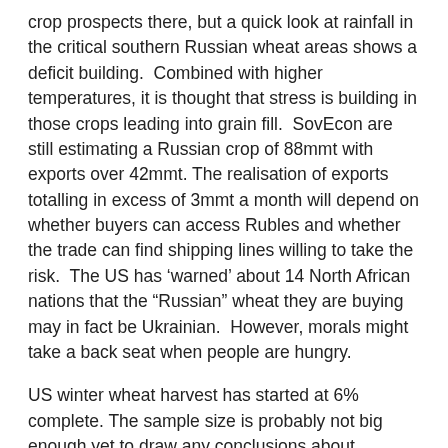crop prospects there, but a quick look at rainfall in the critical southern Russian wheat areas shows a deficit building. Combined with higher temperatures, it is thought that stress is building in those crops leading into grain fill. SovEcon are still estimating a Russian crop of 88mmt with exports over 42mmt. The realisation of exports totalling in excess of 3mmt a month will depend on whether buyers can access Rubles and whether the trade can find shipping lines willing to take the risk. The US has ‘warned’ about 14 North African nations that the “Russian” wheat they are buying may in fact be Ukrainian. However, morals might take a back seat when people are hungry.
US winter wheat harvest has started at 6% complete. The sample size is probably not big enough yet to draw any conclusions about deviations away from ‘average’ yields, but information to hand suggests that yields will be highly variable.
While the sum of all this ‘bad news’ around wheat and